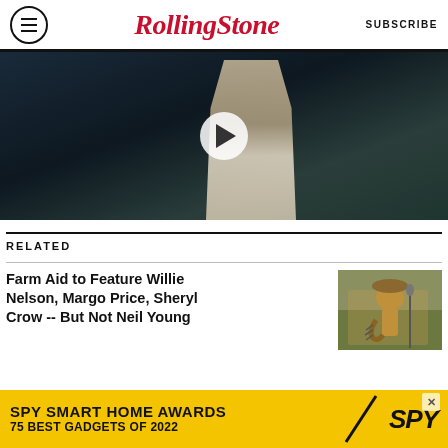RollingStone — SUBSCRIBE
[Figure (photo): Dark video thumbnail with a person in a white/cream outfit and a play button overlay]
RELATED
Farm Aid to Feature Willie Nelson, Margo Price, Sheryl Crow -- But Not Neil Young
[Figure (photo): Willie Nelson playing guitar on stage wearing cowboy hat]
Dr. John and Willie Nelson's Duet of 'Gimme That Old Time Religion' Is the Spiritual Boost You Need
[Figure (other): SPY Smart Home Awards advertisement - 75 Best Gadgets of 2022 on yellow background with SPY logo]